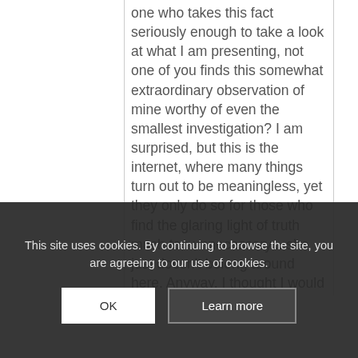one who takes this fact seriously enough to take a look at what I am presenting, not one of you finds this somewhat extraordinary observation of mine worthy of even the smallest investigation? I am surprised, but this is the internet, where many things turn out to be meaningless, yet they only do so for those who find the glaring light of truth much too unnecessary... she just doesn't belong around here. Anyway, I thought I would ask one more time, since I came across this site accidentally this morning, and so not suspecting, nor now expecting anything... Who made this?! Who no knew??
This site uses cookies. By continuing to browse the site, you are agreeing to our use of cookies.